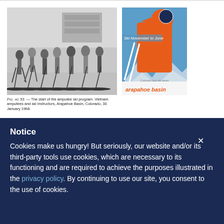[Figure (photo): Black and white photograph of Vietnam amputees and ski instructors at the start of the amputee ski program, Arapahoe Basin, Colorado, 30 January 1968.]
Fig. ac 53. — The start of the amputee ski program. Vietnam amputees and ski instructors, Arapahoe Basin, Colorado, 30 January 1968.
[Figure (illustration): Colorful vintage ski poster for Arapahoe Basin featuring an illustrated orange-clad skier holding poles, with text 'Ski November to June', 'Colorado four ski areas', and 'arapahoe basin'.]
Notice
Cookies make us hungry! But seriously, our website and/or its third-party tools use cookies, which are necessary to its functioning and are required to achieve the purposes illustrated in the privacy policy. By continuing to use our site, you consent to the use of cookies.